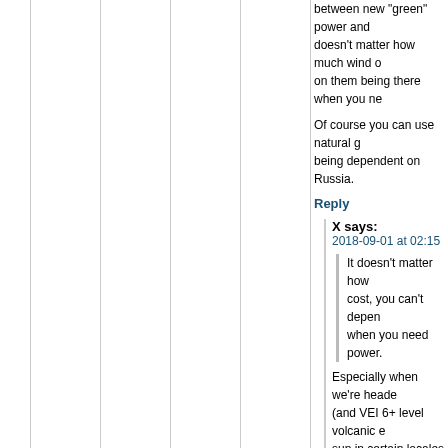between new "green" power and... doesn't matter how much wind or... on them being there when you ne...
Of course you can use natural g... being dependent on Russia.
Reply
X says:
2018-09-01 at 02:15
It doesn't matter how... cost, you can't depen... when you need power...
Especially when we're heade... (and VEI 6+ level volcanic e... sun in certain locales or eve... happened in the past:
https://blog.reaction.la/global-... global-warming/#comment-18...
https://www.armstrongeconom... news/nature/the-hunger-stone...